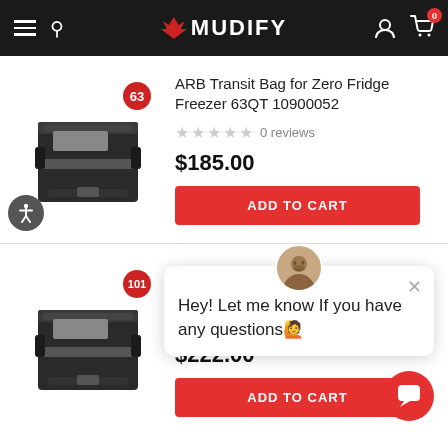MUDIFY
[Figure (photo): ARB Transit Bag product image for 63QT with red badge showing 63]
ARB Transit Bag for Zero Fridge Freezer 63QT 10900052
0 reviews
$185.00
ADD TO CART
[Figure (photo): ARB Transit Bag product image for 101QT with red badge showing 101]
$222.00
ADD TO CART
Hey! Let me know If you have any questions🙋